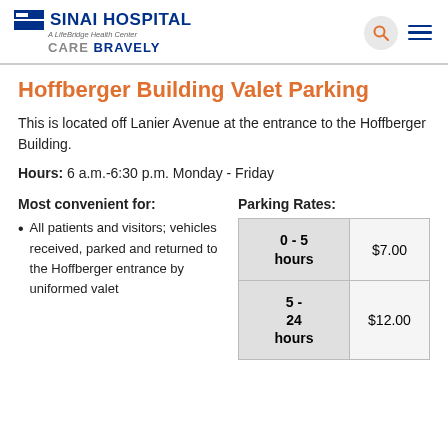SINAI HOSPITAL A LifeBridge Health Center CARE BRAVELY
Hoffberger Building Valet Parking
This is located off Lanier Avenue at the entrance to the Hoffberger Building.
Hours: 6 a.m.-6:30 p.m. Monday - Friday
Most convenient for:
All patients and visitors; vehicles received, parked and returned to the Hoffberger entrance by uniformed valet
Parking Rates:
| Duration | Rate |
| --- | --- |
| 0 - 5 hours | $7.00 |
| 5 - 24 hours | $12.00 |